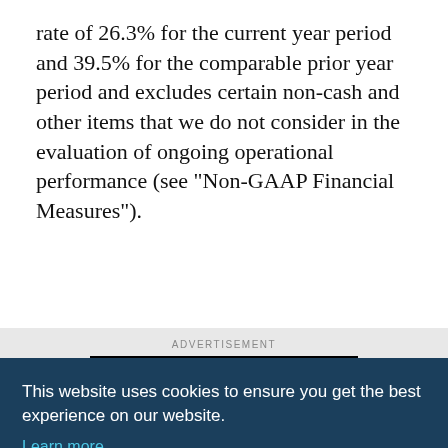rate of 26.3% for the current year period and 39.5% for the comparable prior year period and excludes certain non-cash and other items that we do not consider in the evaluation of ongoing operational performance (see "Non-GAAP Financial Measures").
[Figure (other): COVERMASTER advertisement banner — black background with red/white swoosh logo and text 'COVERMASTER® NO ONE COVERS IT BETTER']
This website uses cookies to ensure you get the best experience on our website.
Learn more
Got it!